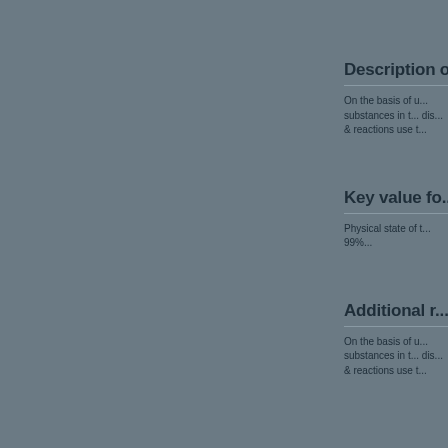Description o...
On the basis of u... substances in t... dis... & reactions use t...
Key value fo...
Physical state of t... 99%...
Additional r...
On the basis of u... substances in t... dis... & reactions use t...